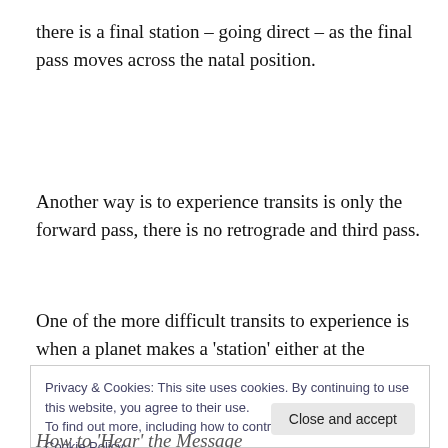there is a final station – going direct – as the final pass moves across the natal position.
Another way is to experience transits is only the forward pass, there is no retrograde and third pass.
One of the more difficult transits to experience is when a planet makes a 'station' either at the retrograde or direct
Privacy & Cookies: This site uses cookies. By continuing to use this website, you agree to their use.
To find out more, including how to control cookies, see here: Cookie Policy
Close and accept
How to 'Hear' the Message